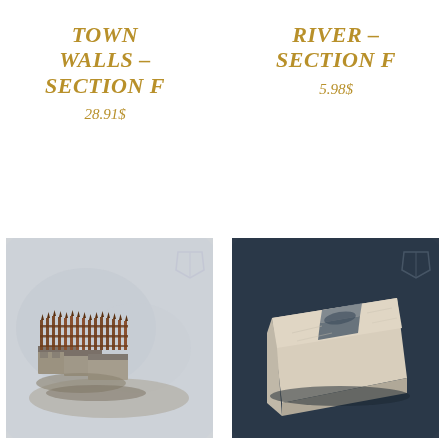Town Walls – Section F
28.91$
River – Section F
5.98$
[Figure (photo): Miniature terrain piece showing stone town walls with wooden palisade fence sections, arranged in a curved line, on a grey background with a shield logo watermark.]
[Figure (photo): Miniature terrain piece showing a flat river section F, a sandy rectangular tile with a carved river channel, on a dark blue background with a shield logo watermark.]